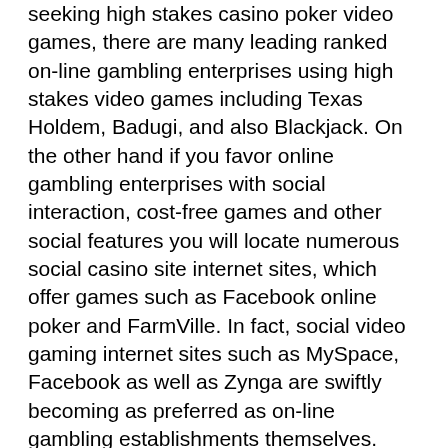seeking high stakes casino poker video games, there are many leading ranked on-line gambling enterprises using high stakes video games including Texas Holdem, Badugi, and also Blackjack. On the other hand if you favor online gambling enterprises with social interaction, cost-free games and other social features you will locate numerous social casino site internet sites, which offer games such as Facebook online poker and FarmVille. In fact, social video gaming internet sites such as MySpace, Facebook as well as Zynga are swiftly becoming as preferred as on-line gambling establishments themselves.
Online casino poker and online casinos are a fantastic means to enjoy yourself when you get on a getaway or just lingering for something to occur. Before you decide to sit down at your computer and also start playing a high risks video game, you must constantly take a look at the regulations and regulations for that certain game. Many on the internet gambling sites have very practical as well as comprehensive regulations and also are there for different